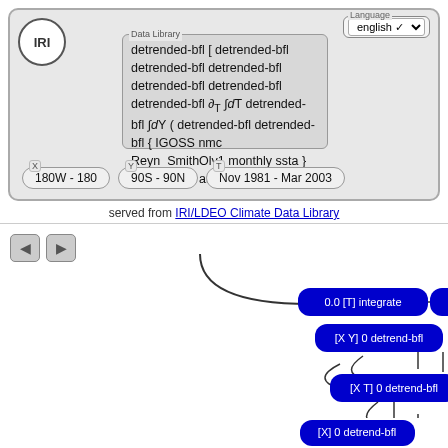[Figure (screenshot): IRI Data Library web interface showing a formula panel with detrended-bfl expression, axis range selectors, and a flowchart of data processing nodes including integrate, partial, and multiple detrend-bfl steps connected by curves.]
detrended-bfl [ detrended-bfl detrended-bfl detrended-bfl detrended-bfl detrended-bfl detrended-bfl ∂T ∫dT detrended-bfl ∫dY ( detrended-bfl detrended-bfl { IGOSS nmc Reyn_SmithOlv1 monthly ssta } anomalies ) anomalies ]
180W - 180
90S - 90N
Nov 1981 - Mar 2003
served from IRI/LDEO Climate Data Library
0.0 [T] integrate
[T] partial
[X Y] 0 detrend-bfl
[X T] 0 detrend-bfl
[X T] 0 detrend-bfl
[X T] 0 detrend-bfl
[X] 0 detrend-bfl